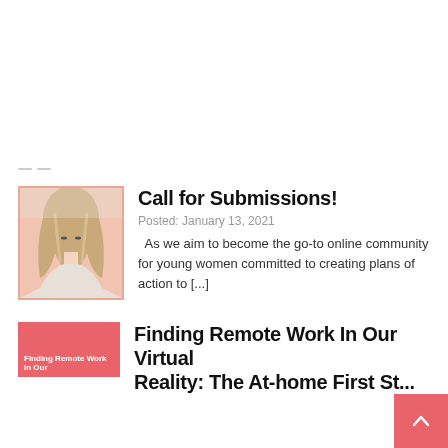[Figure (photo): Thumbnail photo of a young woman with long blonde/brown ombre hair, head slightly bowed, wearing a light top, with a blurred kitchen background. Image has a salmon/pink border frame.]
Call for Submissions!
Posted: January 13, 2021
As we aim to become the go-to online community for young women committed to creating plans of action to [...]
[Figure (photo): Thumbnail image with red/salmon background and white text reading 'Finding Remote Work In Our']
Finding Remote Work In Our Virtual Reality: The At-home First St...